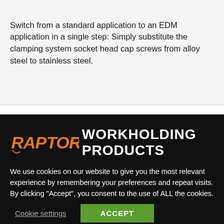Switch from a standard application to an EDM application in a single step: Simply substitute the clamping system socket head cap screws from alloy steel to stainless steel.
[Figure (logo): Raptor Workholding Products logo — orange stylized RAPTOR text followed by white WORKHOLDING PRODUCTS text on black background]
We use cookies on our website to give you the most relevant experience by remembering your preferences and repeat visits. By clicking "Accept", you consent to the use of ALL the cookies.